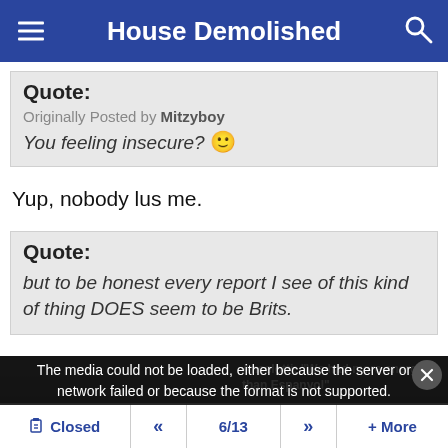House Demolished
Quote:
Originally Posted by Mitzyboy
You feeling insecure? 🙂
Yup, nobody lus me.
Quote:
but to be honest every report I see of this kind of thing DOES seem to be Brits.
[Figure (screenshot): Video player overlay showing a media error: 'The media could not be loaded, either because the server or network failed or because the format is not supported.' with a video thumbnail in the background showing a press conference.]
Closed  «  6/13  »  + More